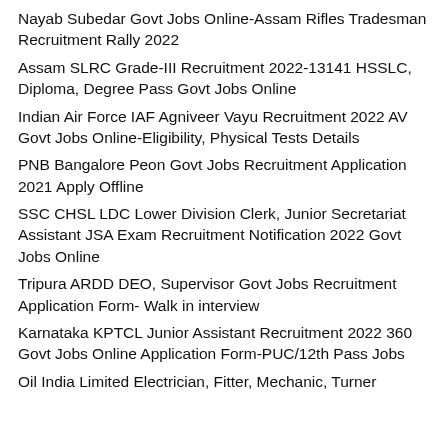Nayab Subedar Govt Jobs Online-Assam Rifles Tradesman Recruitment Rally 2022
Assam SLRC Grade-III Recruitment 2022-13141 HSSLC, Diploma, Degree Pass Govt Jobs Online
Indian Air Force IAF Agniveer Vayu Recruitment 2022 AV Govt Jobs Online-Eligibility, Physical Tests Details
PNB Bangalore Peon Govt Jobs Recruitment Application 2021 Apply Offline
SSC CHSL LDC Lower Division Clerk, Junior Secretariat Assistant JSA Exam Recruitment Notification 2022 Govt Jobs Online
Tripura ARDD DEO, Supervisor Govt Jobs Recruitment Application Form- Walk in interview
Karnataka KPTCL Junior Assistant Recruitment 2022 360 Govt Jobs Online Application Form-PUC/12th Pass Jobs
Oil India Limited Electrician, Fitter, Mechanic, Turner